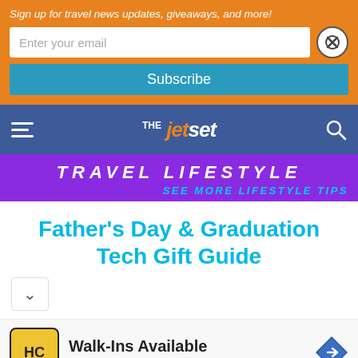Sign up for travel news updates, giveaways, and more!
Enter your email
Subscribe
[Figure (logo): THE JET SET logo in orange and white on blue navigation bar]
TRAVEL LIFESTYLE
SEE MORE LIFESTYLE TIPS
Father's Day & Graduation Tech Gift Guide
[Figure (screenshot): Hair Cuttery advertisement: Walk-Ins Available, with HC logo and map pin icon]